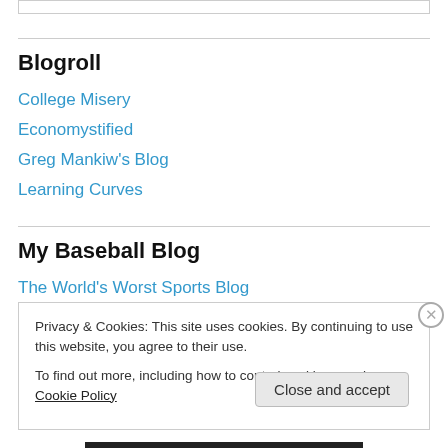Blogroll
College Misery
Economystified
Greg Mankiw's Blog
Learning Curves
My Baseball Blog
The World's Worst Sports Blog
Privacy & Cookies: This site uses cookies. By continuing to use this website, you agree to their use. To find out more, including how to control cookies, see here: Cookie Policy
Close and accept